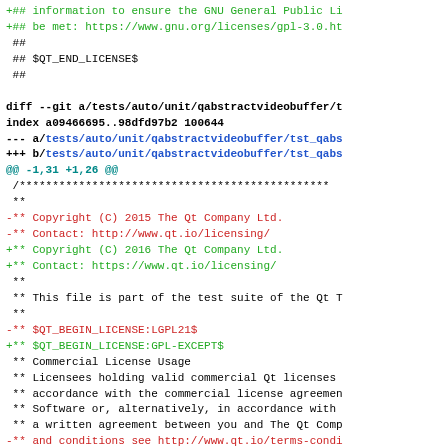Git diff output showing license change in Qt test file from LGPL21 to GPL-EXCEPT and copyright year from 2015 to 2016
+## information to ensure the GNU General Public Li
+## be met: https://www.gnu.org/licenses/gpl-3.0.ht
 ##
 ## $QT_END_LICENSE$
 ##

diff --git a/tests/auto/unit/qabstractvideobuffer/t
index a09466695..98dfd97b2 100644
--- a/tests/auto/unit/qabstractvideobuffer/tst_qabs
+++ b/tests/auto/unit/qabstractvideobuffer/tst_qabs
@@ -1,31 +1,26 @@
 /***********************************************
 **
-** Copyright (C) 2015 The Qt Company Ltd.
-** Contact: http://www.qt.io/licensing/
+** Copyright (C) 2016 The Qt Company Ltd.
+** Contact: https://www.qt.io/licensing/
 **
 ** This file is part of the test suite of the Qt T
 **
-** $QT_BEGIN_LICENSE:LGPL21$
+** $QT_BEGIN_LICENSE:GPL-EXCEPT$
 ** Commercial License Usage
 ** Licensees holding valid commercial Qt licenses
 ** accordance with the commercial license agreemen
 ** Software or, alternatively, in accordance with
 ** a written agreement between you and The Qt Comp
-** and conditions see http://www.qt.io/terms-condi
-** information use the contact form at http://www.
+** and conditions see https://www.qt.io/terms-cond
+** information use the contact form at https://www